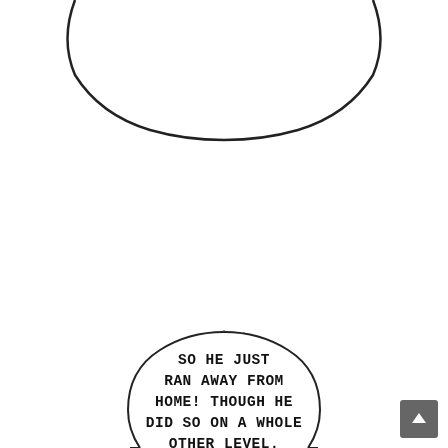[Figure (illustration): Manga/comic page panel showing two circular shapes: a simple circle outline at the top center of the page (partially cropped, showing the bottom arc), and a larger circle at the bottom with radiating lines/spikes emanating outward from its circumference like sun rays or eyelashes. Inside the lower circle is speech bubble text reading: 'SO HE JUST RAN AWAY FROM HOME! THOUGH HE DID SO ON A WHOLE OTHER LEVEL.' A small dark grey button with an upward arrow is visible at the bottom right corner.]
SO HE JUST RAN AWAY FROM HOME! THOUGH HE DID SO ON A WHOLE OTHER LEVEL.